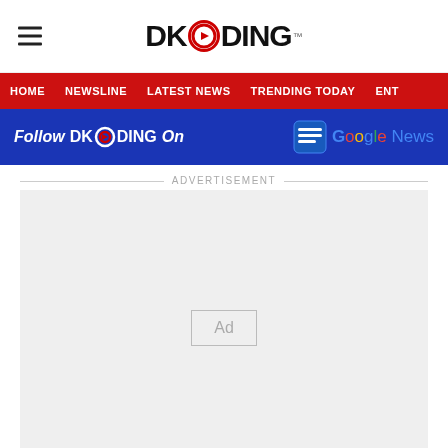DKODING
HOME  NEWSLINE  LATEST NEWS  TRENDING TODAY  ENT
Follow DKODING On  Google News
ADVERTISEMENT
[Figure (other): Advertisement placeholder box with 'Ad' label]